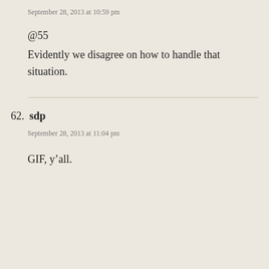September 28, 2013 at 10:59 pm
@55
Evidently we disagree on how to handle that situation.
62. sdp
September 28, 2013 at 11:04 pm
GIF, y’all.